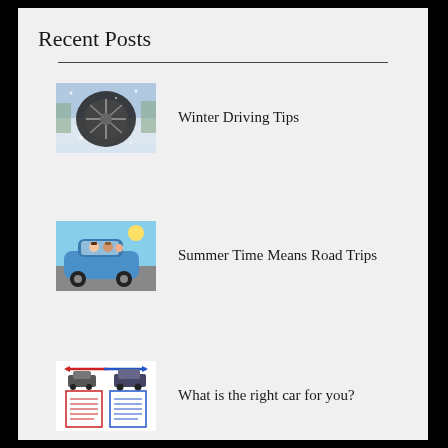Recent Posts
Winter Driving Tips
Summer Time Means Road Trips
What is the right car for you?